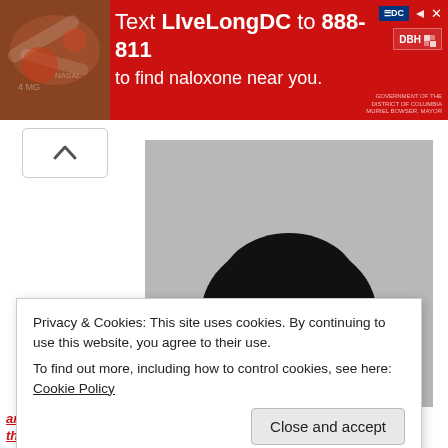[Figure (infographic): Red advertisement banner: 'Text LIveLongDC to 888-811 to find naloxone near you.' with DC government and DBH logos on the right side.]
[Figure (photo): A smiling young Black woman wearing a red Howard University sweatshirt, photographed against a gray background. She has a natural afro hairstyle and is wearing glasses.]
Privacy & Cookies: This site uses cookies. By continuing to use this website, you agree to their use.
To find out more, including how to control cookies, see here: Cookie Policy
Close and accept
...and a game deep dive to see what it has for those considering joining for? You can find...